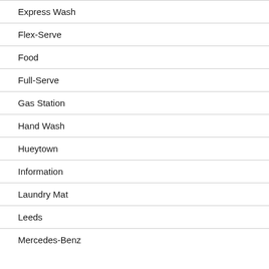Express Wash
Flex-Serve
Food
Full-Serve
Gas Station
Hand Wash
Hueytown
Information
Laundry Mat
Leeds
Mercedes-Benz